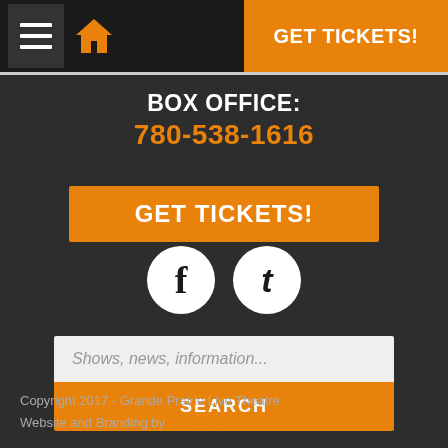GET TICKETS!
BOX OFFICE:
780-538-1616
GET TICKETS!
[Figure (illustration): Facebook and Tumblr social media icons as white circles with dark letters f and t]
Shows, news, information...
SEARCH
Copyright 2017 - Grande Prairie Live Theatre
Website and Branding by nine10 Inc.